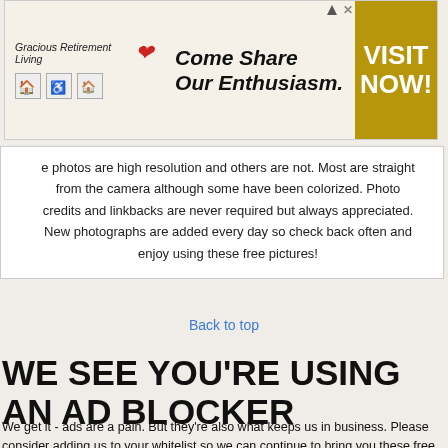[Figure (photo): Advertisement banner for Gracious Retirement Living with 'Come Share Our Enthusiasm.' text and gold 'VISIT NOW!' button]
e photos are high resolution and others are not. Most are straight from the camera although some have been colorized. Photo credits and linkbacks are never required but always appreciated. New photographs are added every day so check back often and enjoy using these free pictures!
Back to top
WE SEE YOU'RE USING AN AD BLOCKER
We get it - ads are a pain. But they're also what keeps us in business. Please consider adding us to your whitelist so we can continue to bring you these free photos. Thanks so much for using our site!
Close